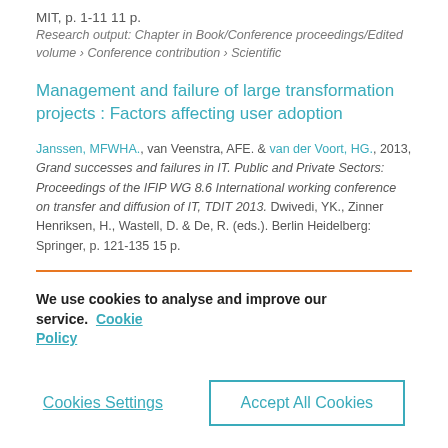MIT, p. 1-11 11 p.
Research output: Chapter in Book/Conference proceedings/Edited volume › Conference contribution › Scientific
Management and failure of large transformation projects : Factors affecting user adoption
Janssen, MFWHA., van Veenstra, AFE. & van der Voort, HG., 2013, Grand successes and failures in IT. Public and Private Sectors: Proceedings of the IFIP WG 8.6 International working conference on transfer and diffusion of IT, TDIT 2013. Dwivedi, YK., Zinner Henriksen, H., Wastell, D. & De, R. (eds.). Berlin Heidelberg: Springer, p. 121-135 15 p.
We use cookies to analyse and improve our service. Cookie Policy
Cookies Settings
Accept All Cookies